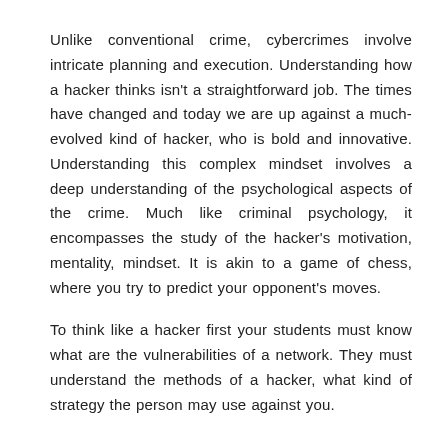Unlike conventional crime, cybercrimes involve intricate planning and execution. Understanding how a hacker thinks isn't a straightforward job. The times have changed and today we are up against a much-evolved kind of hacker, who is bold and innovative. Understanding this complex mindset involves a deep understanding of the psychological aspects of the crime. Much like criminal psychology, it encompasses the study of the hacker's motivation, mentality, mindset. It is akin to a game of chess, where you try to predict your opponent's moves.
To think like a hacker first your students must know what are the vulnerabilities of a network. They must understand the methods of a hacker, what kind of strategy the person may use against you.
Hackers can cause harm to your system through various means like:
1. They may send you phishing emails.
2. By sending malware or other intrusive programs and...